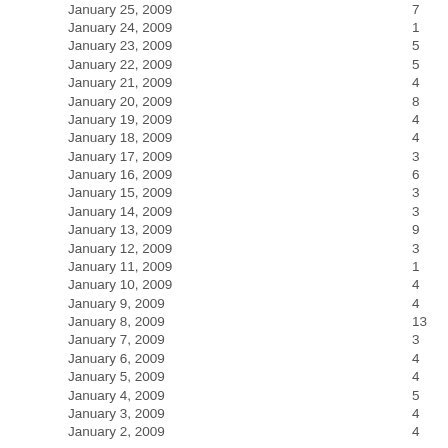| Date | Count |
| --- | --- |
| January 25, 2009 | 7 |
| January 24, 2009 | 1 |
| January 23, 2009 | 5 |
| January 22, 2009 | 5 |
| January 21, 2009 | 4 |
| January 20, 2009 | 8 |
| January 19, 2009 | 4 |
| January 18, 2009 | 4 |
| January 17, 2009 | 3 |
| January 16, 2009 | 6 |
| January 15, 2009 | 3 |
| January 14, 2009 | 3 |
| January 13, 2009 | 9 |
| January 12, 2009 | 3 |
| January 11, 2009 | 1 |
| January 10, 2009 | 4 |
| January 9, 2009 | 4 |
| January 8, 2009 | 13 |
| January 7, 2009 | 3 |
| January 6, 2009 | 4 |
| January 5, 2009 | 4 |
| January 4, 2009 | 5 |
| January 3, 2009 | 4 |
| January 2, 2009 | 4 |